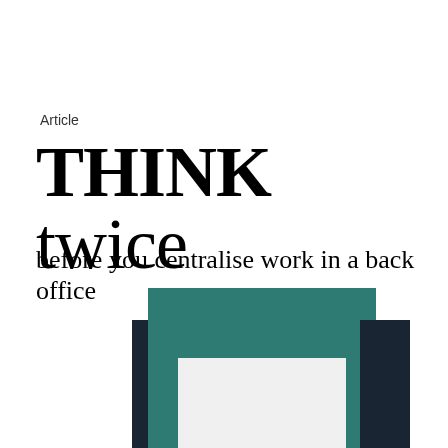Article
THINK twice
before you centralise work in a back office
[Figure (illustration): Abstract illustration showing overlapping rectangular shapes in teal/dark navy and light gray, partially cropped at bottom of page, suggesting stacked files or folders.]